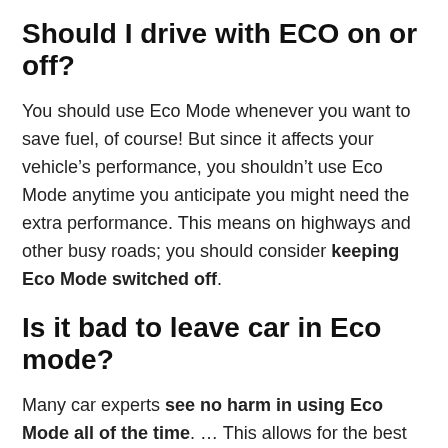Should I drive with ECO on or off?
You should use Eco Mode whenever you want to save fuel, of course! But since it affects your vehicle’s performance, you shouldn’t use Eco Mode anytime you anticipate you might need the extra performance. This means on highways and other busy roads; you should consider keeping Eco Mode switched off.
Is it bad to leave car in Eco mode?
Many car experts see no harm in using Eco Mode all of the time. … This allows for the best fuel economy for your car. Eco Mode also helps to reduce the AC system- as there is minimal compressor drag on your car’s engine.
How do you use Eco mode in a